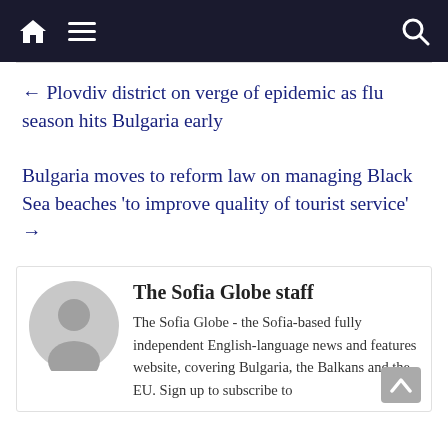Navigation bar with home, menu, and search icons
← Plovdiv district on verge of epidemic as flu season hits Bulgaria early
Bulgaria moves to reform law on managing Black Sea beaches 'to improve quality of tourist service' →
The Sofia Globe staff
The Sofia Globe - the Sofia-based fully independent English-language news and features website, covering Bulgaria, the Balkans and the EU. Sign up to subscribe to